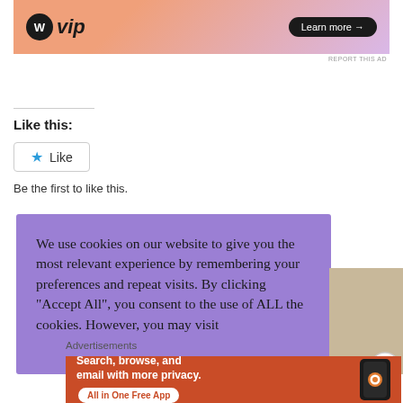[Figure (screenshot): WordPress VIP advertisement banner with orange-pink gradient, WP circle logo, 'vip' text, and 'Learn more →' dark button]
REPORT THIS AD
Like this:
[Figure (screenshot): WordPress Like button widget with blue star icon and 'Like' text in a rounded rectangle border]
Be the first to like this.
[Figure (screenshot): Cookie consent popup on purple background reading: We use cookies on our website to give you the most relevant experience by remembering your preferences and repeat visits. By clicking "Accept All", you consent to the use of ALL the cookies. However, you may visit]
Advertisements
[Figure (screenshot): DuckDuckGo advertisement banner on orange-red background with text 'Search, browse, and email with more privacy. All in One Free App' and phone image with DuckDuckGo logo]